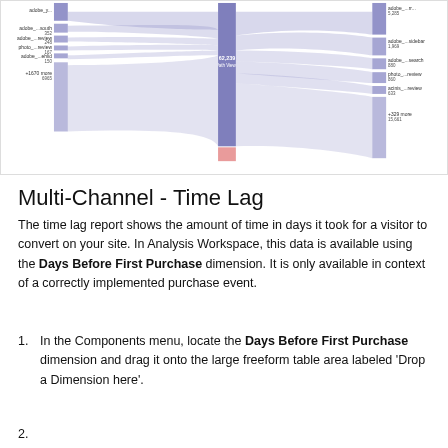[Figure (other): Sankey/flow diagram showing multi-channel path analysis with nodes on left (adobe_y..., adobe_...south 352, adobe_...review 248, photo_...review 167, adobe_...ehlid 150, +1670 more 6965), a central node (62,239 Path Views), and right side nodes (adobe_...rr... 5,285, adobe_...sidebar 1,969, adobe_...search 880, photo_...review 860, acinis_...review 633, +329 more 15,661). Flow ribbons in purple/blue and pink connect nodes.]
Multi-Channel - Time Lag
The time lag report shows the amount of time in days it took for a visitor to convert on your site. In Analysis Workspace, this data is available using the Days Before First Purchase dimension. It is only available in context of a correctly implemented purchase event.
In the Components menu, locate the Days Before First Purchase dimension and drag it onto the large freeform table area labeled 'Drop a Dimension here'.
2. (partially visible)